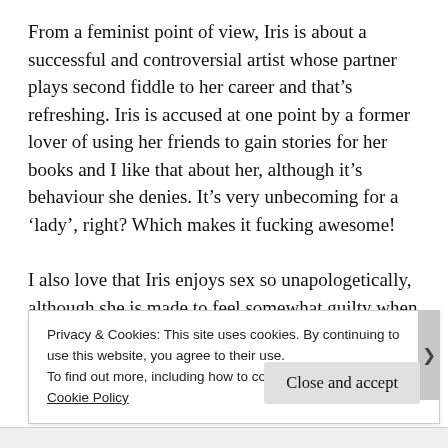From a feminist point of view, Iris is about a successful and controversial artist whose partner plays second fiddle to her career and that’s refreshing. Iris is accused at one point by a former lover of using her friends to gain stories for her books and I like that about her, although it’s behaviour she denies. It’s very unbecoming for a ‘lady’, right? Which makes it fucking awesome!
I also love that Iris enjoys sex so unapologetically, although she is made to feel somewhat guilty when
Privacy & Cookies: This site uses cookies. By continuing to use this website, you agree to their use.
To find out more, including how to control cookies, see here:
Cookie Policy
Close and accept